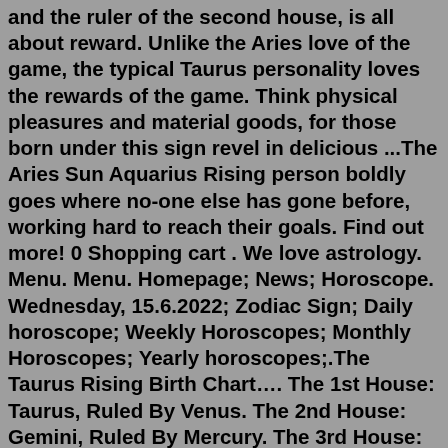and the ruler of the second house, is all about reward. Unlike the Aries love of the game, the typical Taurus personality loves the rewards of the game. Think physical pleasures and material goods, for those born under this sign revel in delicious ...The Aries Sun Aquarius Rising person boldly goes where no-one else has gone before, working hard to reach their goals. Find out more! 0 Shopping cart . We love astrology. Menu. Menu. Homepage; News; Horoscope. Wednesday, 15.6.2022; Zodiac Sign; Daily horoscope; Weekly Horoscopes; Monthly Horoscopes; Yearly horoscopes;.The Taurus Rising Birth Chart…. The 1st House: Taurus, Ruled By Venus. The 2nd House: Gemini, Ruled By Mercury. The 3rd House: Cancer, Ruled By The Moon. The 4th House: Leo, Ruled By The Sun. The 5th House: Virgo, Ruled By Mercury. The 6th House: Libra, Ruled By Venus. The 7th House: Scorpio, Ruled By Mars. The 8th House: Sagittarius, Ruled ...The Aries Sun Aquarius Rising person boldly goes where no-one else has gone before, working hard to reach their goals. Find out more! 0